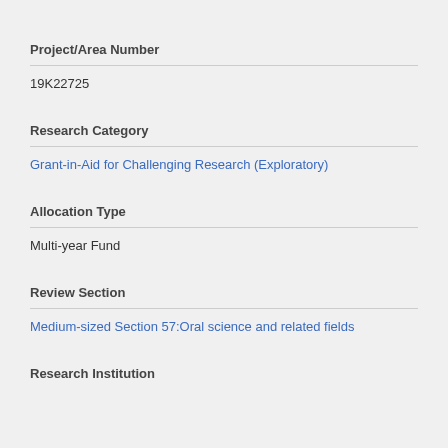Project/Area Number
19K22725
Research Category
Grant-in-Aid for Challenging Research (Exploratory)
Allocation Type
Multi-year Fund
Review Section
Medium-sized Section 57:Oral science and related fields
Research Institution